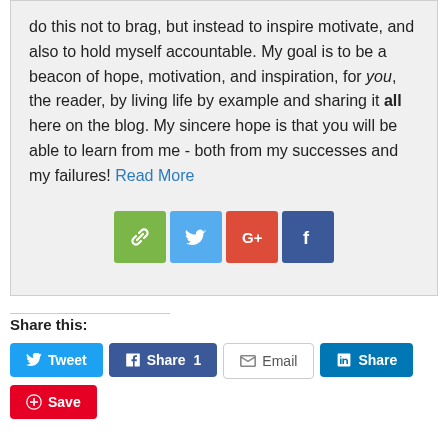do this not to brag, but instead to inspire motivate, and also to hold myself accountable. My goal is to be a beacon of hope, motivation, and inspiration, for you, the reader, by living life by example and sharing it all here on the blog. My sincere hope is that you will be able to learn from me - both from my successes and my failures! Read More
[Figure (infographic): Four social share icon buttons: link (green), Twitter (blue), Google+ (red-orange), Facebook (dark blue)]
Share this:
Tweet | Share 1 | Email | Share | Save